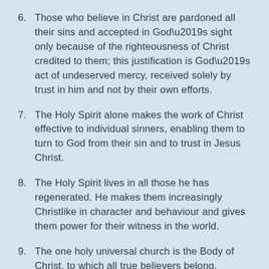6. Those who believe in Christ are pardoned all their sins and accepted in God’s sight only because of the righteousness of Christ credited to them; this justification is God’s act of undeserved mercy, received solely by trust in him and not by their own efforts.
7. The Holy Spirit alone makes the work of Christ effective to individual sinners, enabling them to turn to God from their sin and to trust in Jesus Christ.
8. The Holy Spirit lives in all those he has regenerated. He makes them increasingly Christlike in character and behaviour and gives them power for their witness in the world.
9. The one holy universal church is the Body of Christ, to which all true believers belong.